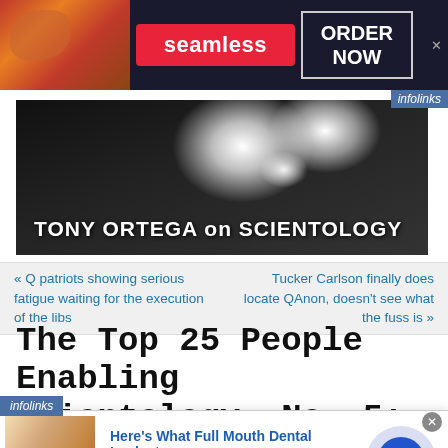[Figure (screenshot): Seamless food delivery advertisement banner with pizza image, red Seamless button, and ORDER NOW box on dark background]
[Figure (photo): Tony Ortega on Scientology website header — dark background with white fragmented shapes and bold white text]
« Q patriots showing serious fatigue waiting for the execution of the libs
Tucker Carlson finally does locate QAnon, doesn't see what the fuss is »
The Top 25 People Enabling Scientology, No. 5: The dirty tricks
[Figure (screenshot): infolinks ad overlay label bottom left]
[Figure (screenshot): Bottom advertisement for Full Mouth Dental Implants from pr.implantdentalservicesus.com with tooth photo and navigation arrow]